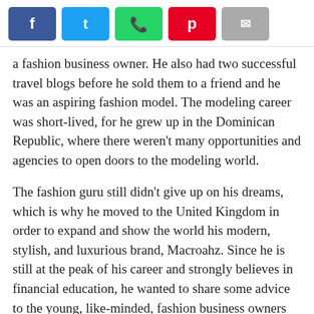[Social share buttons: Facebook, Twitter, WhatsApp, Pinterest, Email]
a fashion business owner. He also had two successful travel blogs before he sold them to a friend and he was an aspiring fashion model. The modeling career was short-lived, for he grew up in the Dominican Republic, where there weren't many opportunities and agencies to open doors to the modeling world.
The fashion guru still didn't give up on his dreams, which is why he moved to the United Kingdom in order to expand and show the world his modern, stylish, and luxurious brand, Macroahz. Since he is still at the peak of his career and strongly believes in financial education, he wanted to share some advice to the young, like-minded, fashion business owners out there.